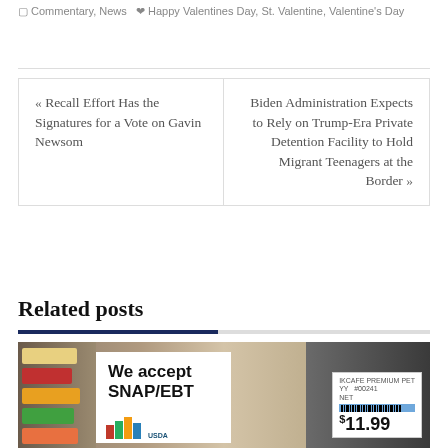Commentary, News  Happy Valentines Day, St. Valentine, Valentine's Day
« Recall Effort Has the Signatures for a Vote on Gavin Newsom
Biden Administration Expects to Rely on Trump-Era Private Detention Facility to Hold Migrant Teenagers at the Border »
Related posts
[Figure (photo): A photo of a store accepting SNAP/EBT benefits, showing a sign that reads 'We accept SNAP/EBT' with USDA logo, store shelves with food products, and a price tag showing $11.99]